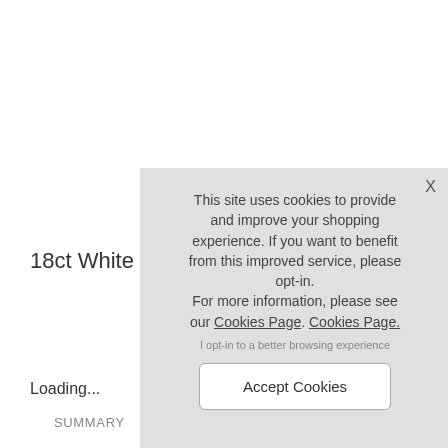18ct White G
Loading...
SUMMARY
X
This site uses cookies to provide and improve your shopping experience. If you want to benefit from this improved service, please opt-in.
For more information, please see our Cookies Page. Cookies Page.
I opt-in to a better browsing experience
Accept Cookies